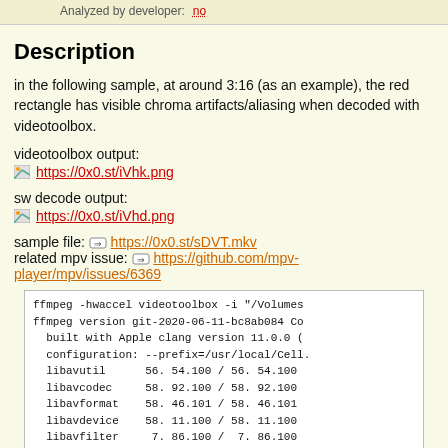Analyzed by developer: no
Description
in the following sample, at around 3:16 (as an example), the red rectangle has visible chroma artifacts/aliasing when decoded with videotoolbox.
videotoolbox output:
https://0x0.st/iVhk.png
sw decode output:
https://0x0.st/iVhd.png
sample file: https://0x0.st/sDVT.mkv
related mpv issue: https://github.com/mpv-player/mpv/issues/6369
ffmpeg -hwaccel videotoolbox -i "/Volumes
ffmpeg version git-2020-06-11-bc8ab084 Co
  built with Apple clang version 11.0.0 (
  configuration: --prefix=/usr/local/Cell.
  libavutil      56. 54.100 / 56. 54.100
  libavcodec     58. 92.100 / 58. 92.100
  libavformat    58. 46.101 / 58. 46.101
  libavdevice    58. 11.100 / 58. 11.100
  libavfilter     7. 86.100 /  7. 86.100
  libavresample   4.  0.  0 /  4.  0.  0
  libswscale      5.  8.100 /  5.  8.100
  lib...